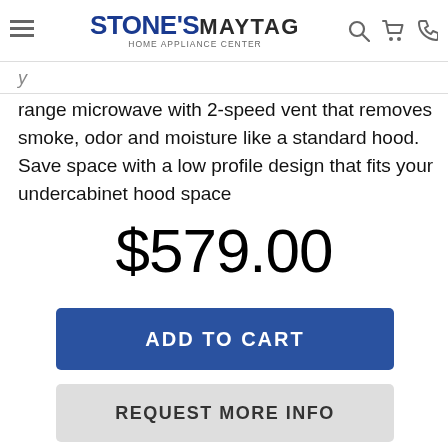STONE'S MAYTAG HOME APPLIANCE CENTER
range microwave with 2-speed vent that removes smoke, odor and moisture like a standard hood. Save space with a low profile design that fits your undercabinet hood space
$579.00
ADD TO CART
REQUEST MORE INFO
WISHLIST   COMPARE